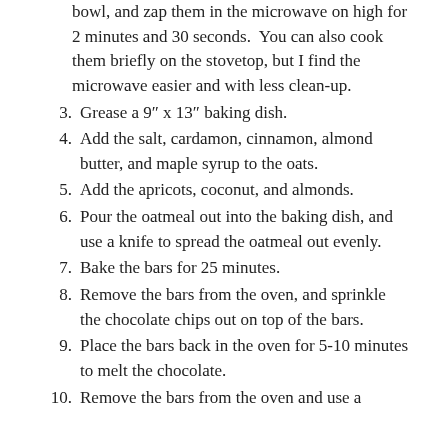(continuation) bowl, and zap them in the microwave on high for 2 minutes and 30 seconds. You can also cook them briefly on the stovetop, but I find the microwave easier and with less clean-up.
3. Grease a 9″ x 13″ baking dish.
4. Add the salt, cardamon, cinnamon, almond butter, and maple syrup to the oats.
5. Add the apricots, coconut, and almonds.
6. Pour the oatmeal out into the baking dish, and use a knife to spread the oatmeal out evenly.
7. Bake the bars for 25 minutes.
8. Remove the bars from the oven, and sprinkle the chocolate chips out on top of the bars.
9. Place the bars back in the oven for 5-10 minutes to melt the chocolate.
10. Remove the bars from the oven and use a (continues)